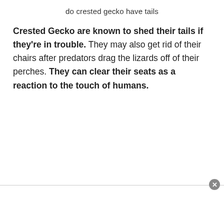do crested gecko have tails
Crested Gecko are known to shed their tails if they're in trouble. They may also get rid of their chairs after predators drag the lizards off of their perches. They can clear their seats as a reaction to the touch of humans.